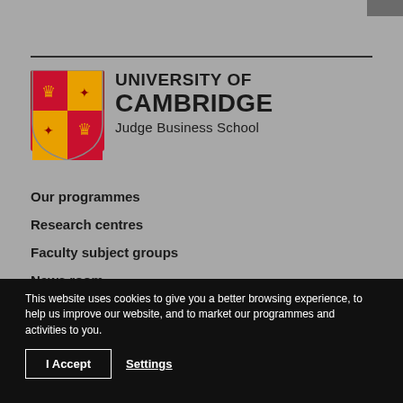[Figure (logo): University of Cambridge Judge Business School logo with shield/coat of arms and text]
Our programmes
Research centres
Faculty subject groups
News room
For recruiters
This website uses cookies to give you a better browsing experience, to help us improve our website, and to market our programmes and activities to you.
I Accept
Settings